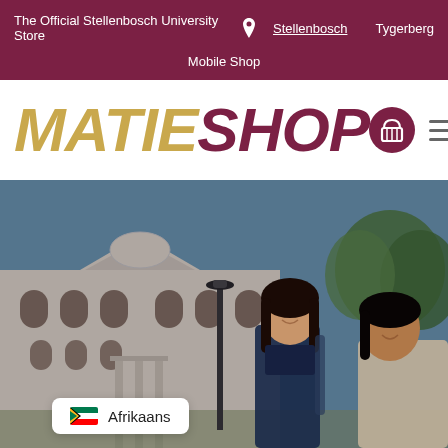The Official Stellenbosch University Store  Stellenbosch  Tygerberg
Mobile Shop
MATIESHOP
[Figure (photo): Hero banner showing two female students smiling in front of a white Cape Dutch style university building with a street lamp and trees, on a sunny day. A language selector badge showing Afrikaans with a South African flag is overlaid at the bottom left.]